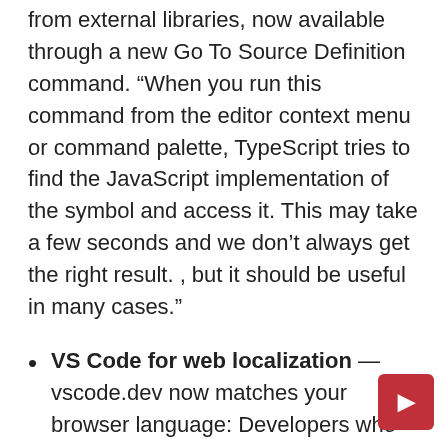from external libraries, now available through a new Go To Source Definition command. “When you run this command from the editor context menu or command palette, TypeScript tries to find the JavaScript implementation of the symbol and access it. This may take a few seconds and we don’t always get the right result. , but it should be useful in many cases.”
VS Code for web localization — vscode.dev now matches your browser language: Developers who set their browser to one of the major languages supported in the web version — vscode.dev — will automatically see translations applied in that language. Supported languages are listed in the